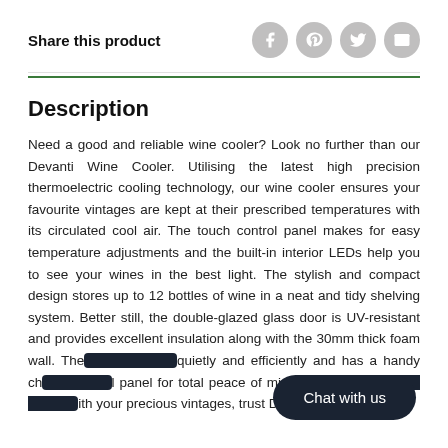Share this product
Description
Need a good and reliable wine cooler? Look no further than our Devanti Wine Cooler. Utilising the latest high precision thermoelectric cooling technology, our wine cooler ensures your favourite vintages are kept at their prescribed temperatures with its circulated cool air. The touch control panel makes for easy temperature adjustments and the built-in interior LEDs help you to see your wines in the best light. The stylish and compact design stores up to 12 bottles of wine in a neat and tidy shelving system. Better still, the double-glazed glass door is UV-resistant and provides excellent insulation along with the 30mm thick foam wall. The [unit operates] quietly and efficiently and has a handy ch[ild lock on the] panel for total peace of mind. Don't trust ju[st any cooler w]ith your precious vintages, trust Devanti.
Chat with us